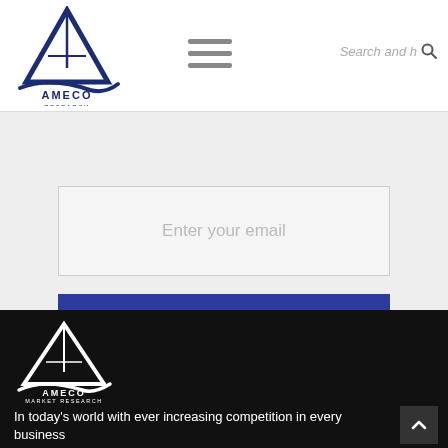[Figure (logo): Ameco Research logo — triangle/mountain shape with swoosh line below, company name AMECO RESEARCH below icon]
[Figure (infographic): Three horizontal grey lines forming hamburger/menu icon]
Search and h
Enter your email
Subscribe
[Figure (logo): Ameco Market Research white logo on dark background — triangle/mountain with swoosh, AMECO MARKET RESEARCH text below]
In today's world with ever increasing competition in every business